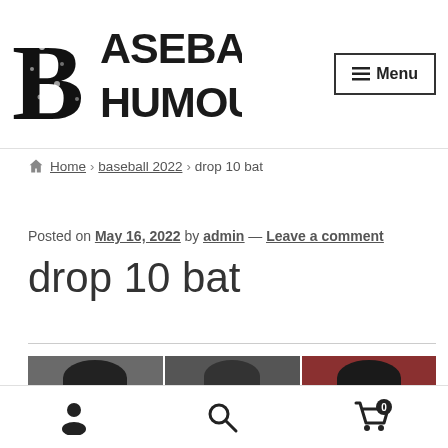[Figure (logo): Baseball Humour logo with large textured 'B' letter and bold stacked text 'ASEBALL HUMOUR']
≡ Menu
🏠 Home › baseball 2022 › drop 10 bat
Posted on May 16, 2022 by admin — Leave a comment
drop 10 bat
[Figure (photo): Partial image strip showing baseball-related photos with dark/black clothing items]
[Figure (infographic): Bottom toolbar with user/profile icon, search icon, and shopping cart icon with badge showing 0]